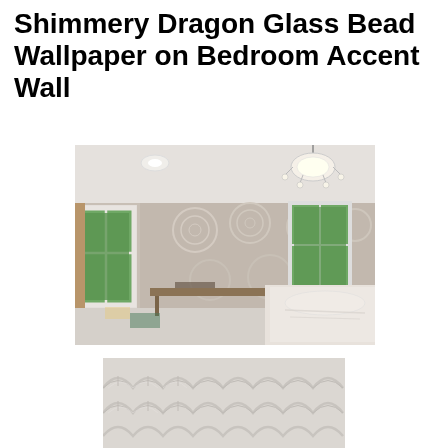Shimmery Dragon Glass Bead Wallpaper on Bedroom Accent Wall
[Figure (photo): Bedroom accent wall with shimmery dragon glass bead wallpaper installed, showing two windows flanking the patterned wall, a chandelier on the ceiling, a work table in the middle of the room, and a bed with white linens on the right side. Room appears to be mid-installation.]
[Figure (photo): Close-up detail of the shimmery dragon glass bead wallpaper showing an embossed scallop or wave pattern in light beige/cream tones.]